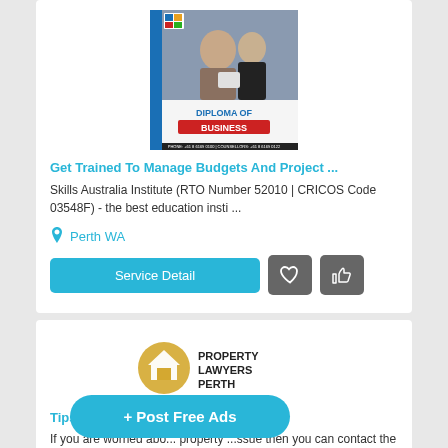[Figure (photo): Diploma of Business promotional image showing two professionals with a tablet]
Get Trained To Manage Budgets And Project ...
Skills Australia Institute (RTO Number 52010 | CRICOS Code 03548F) - the best education insti ...
Perth WA
[Figure (logo): Property Lawyers Perth logo with house icon]
Tips To Find Highly-B...
If you are worried abo... property ...ssue then you can contact the Property lawyers. We ...